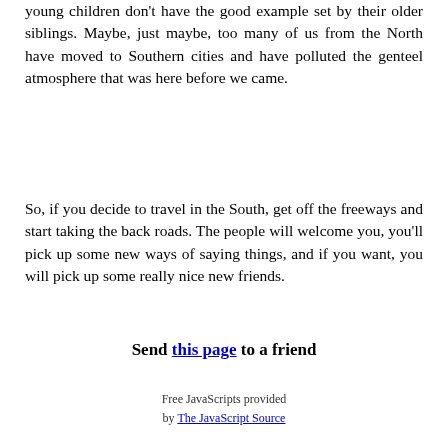young children don't have the good example set by their older siblings. Maybe, just maybe, too many of us from the North have moved to Southern cities and have polluted the genteel atmosphere that was here before we came.
So, if you decide to travel in the South, get off the freeways and start taking the back roads. The people will welcome you, you'll pick up some new ways of saying things, and if you want, you will pick up some really nice new friends.
Send this page to a friend
Free JavaScripts provided by The JavaScript Source